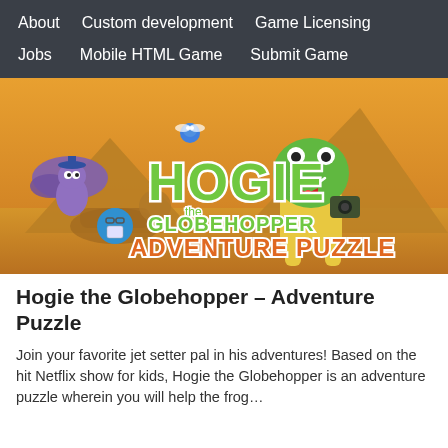About   Custom development   Game Licensing   Jobs   Mobile HTML Game   Submit Game
[Figure (illustration): Promotional banner image for 'Hogie the Globehopper – Adventure Puzzle' game. Shows cartoon characters including a large green frog wearing yellow pants, a blue bug with glasses, a purple bat-like character, and others, set against an Egyptian pyramid desert background. The title 'HOGIE the GLOBEHOPPER ADVENTURE PUZZLE' is displayed in large stylized green and orange text.]
Hogie the Globehopper – Adventure Puzzle
Join your favorite jet setter pal in his adventures! Based on the hit Netflix show for kids, Hogie the Globehopper is an adventure puzzle wherein you will help the frog…